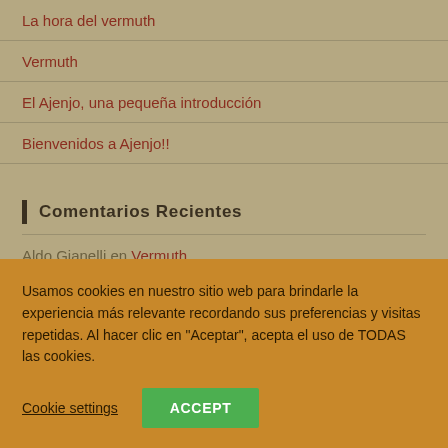La hora del vermuth
Vermuth
El Ajenjo, una pequeña introducción
Bienvenidos a Ajenjo!!
Comentarios Recientes
Aldo Gianelli en Vermuth
Pablo en Vermuth
Usamos cookies en nuestro sitio web para brindarle la experiencia más relevante recordando sus preferencias y visitas repetidas. Al hacer clic en "Aceptar", acepta el uso de TODAS las cookies.
Cookie settings
ACCEPT